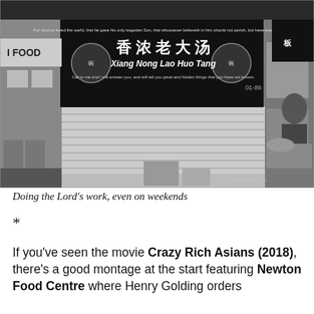[Figure (photo): Black and white photograph of a hawker stall named 'Xiang Nong Lao Huo Tang' (香浓老火汤) with its shuttered metal roller door closed. The sign has Chinese characters and English text with biblical quotes. Adjacent stalls are visible on both sides. Cardboard boxes and bins are on the ground. Watermark reads 'pinaymamasg.com'.]
Doing the Lord's work, even on weekends
*
If you've seen the movie Crazy Rich Asians (2018), there's a good montage at the start featuring Newton Food Centre where Henry Golding orders